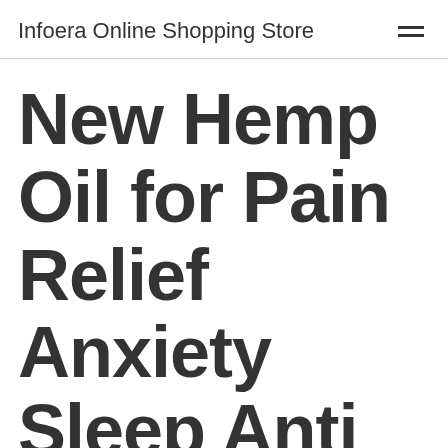Infoera Online Shopping Store
New Hemp Oil for Pain Relief Anxiety Sleep Anti